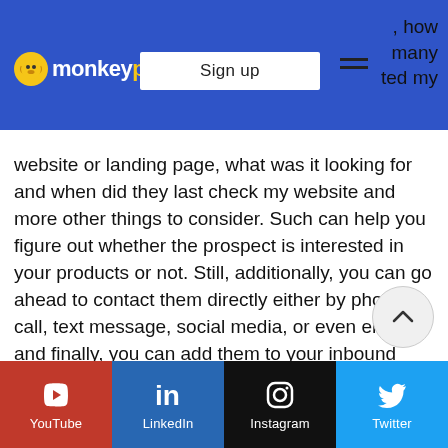monkeypesa — Sign up — navigation
, how many ted my website or landing page, what was it looking for and when did they last check my website and more other things to consider. Such can help you figure out whether the prospect is interested in your products or not. Still, additionally, you can go ahead to contact them directly either by phone call, text message, social media, or even emails and finally, you can add them to your inbound prospecting matrix cart as immediate contacts if you are sure you are likely to close a deal with them.
YouTube | LinkedIn | Instagram | Twitter